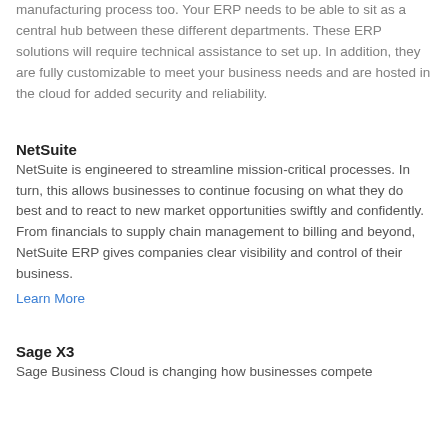manufacturing process too. Your ERP needs to be able to sit as a central hub between these different departments. These ERP solutions will require technical assistance to set up. In addition, they are fully customizable to meet your business needs and are hosted in the cloud for added security and reliability.
NetSuite
NetSuite is engineered to streamline mission-critical processes. In turn, this allows businesses to continue focusing on what they do best and to react to new market opportunities swiftly and confidently. From financials to supply chain management to billing and beyond, NetSuite ERP gives companies clear visibility and control of their business.
Learn More
Sage X3
Sage Business Cloud is changing how businesses compete